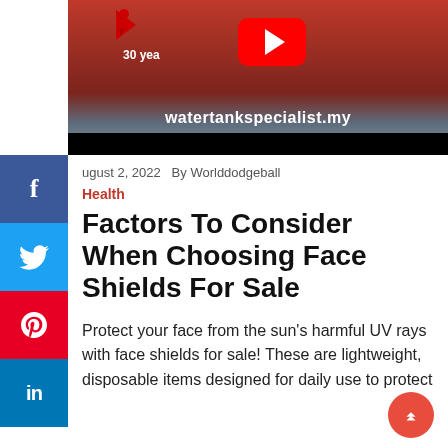[Figure (screenshot): YouTube video thumbnail for watertankspecialist.my showing red water tanks and a YouTube play button overlay with site URL text]
August 2, 2022   By Worlddodgeball
Health
Factors To Consider When Choosing Face Shields For Sale
Protect your face from the sun's harmful UV rays with face shields for sale! These are lightweight, disposable items designed for daily use to protect